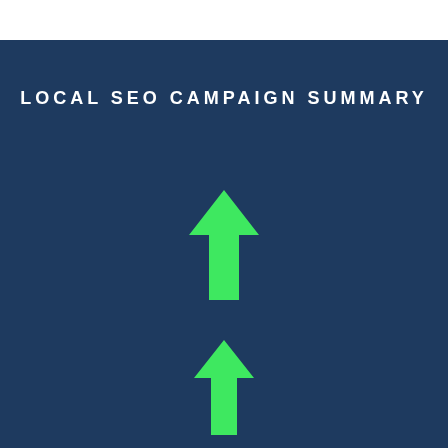LOCAL SEO CAMPAIGN SUMMARY
[Figure (infographic): Two green upward-pointing arrows centered on a dark navy blue background, suggesting upward trends or improvement in a Local SEO campaign summary infographic.]